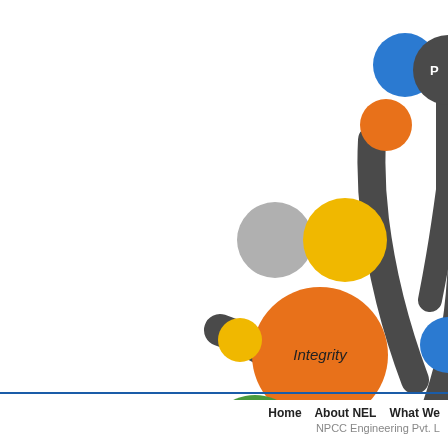[Figure (infographic): A decorative tree infographic partially visible on the right side of the page. The tree has a dark grey trunk and branches, with colorful circles representing company values. Visible labeled circles include 'Integrity' (large orange circle) and 'Trust' (large blue circle). Additional smaller circles in blue, orange, grey, yellow, green colors are scattered among the branches. A dark banner at the bottom right reads 'OUR VA' (cut off, likely 'OUR VALUES').]
Home   About NEL   What We ... 
NPCC Engineering Pvt. L...